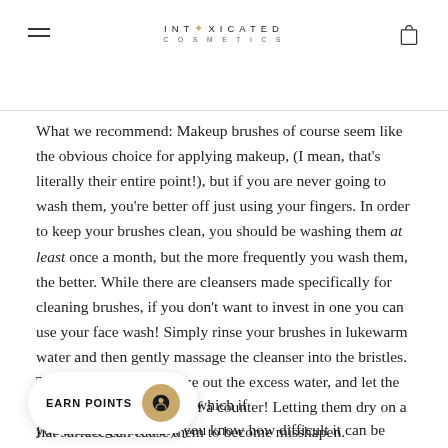INTOXICATED COSMETICS
What we recommend: Makeup brushes of course seem like the obvious choice for applying makeup, (I mean, that's literally their entire point!), but if you are never going to wash them, you're better off just using your fingers. In order to keep your brushes clean, you should be washing them at least once a month, but the more frequently you wash them, the better. While there are cleansers made specifically for cleaning brushes, if you don't want to invest in one you can use your face wash! Simply rinse your brushes in lukewarm water and then gently massage the cleanser into the bristles. Then, rinse it out, squeeze out the excess water, and let the brushes dry off the edge of a counter! Letting them dry on a flat surface can cause them to become misshapen.
ou apply SPF every day, (which if you aren't, get on that), you know how difficult it can be